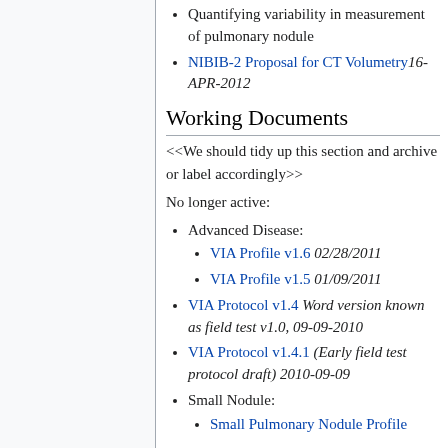Quantifying variability in measurement of pulmonary nodule
NIBIB-2 Proposal for CT Volumetry 16-APR-2012
Working Documents
<<We should tidy up this section and archive or label accordingly>>
No longer active:
Advanced Disease:
VIA Profile v1.6 02/28/2011
VIA Profile v1.5 01/09/2011
VIA Protocol v1.4 Word version known as field test v1.0, 09-09-2010
VIA Protocol v1.4.1 (Early field test protocol draft) 2010-09-09
Small Nodule:
Small Pulmonary Nodule Profile